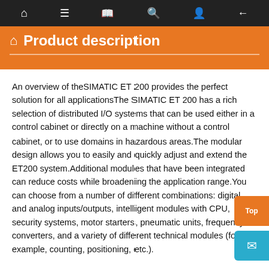Navigation bar with home, menu, book, search, user, and back icons
Product description
An overview of theSIMATIC ET 200 provides the perfect solution for all applicationsThe SIMATIC ET 200 has a rich selection of distributed I/O systems that can be used either in a control cabinet or directly on a machine without a control cabinet, or to use domains in hazardous areas.The modular design allows you to easily and quickly adjust and extend the ET200 system.Additional modules that have been integrated can reduce costs while broadening the application range.You can choose from a number of different combinations: digital and analog inputs/outputs, intelligent modules with CPU, security systems, motor starters, pneumatic units, frequency converters, and a variety of different technical modules (for example, counting, positioning, etc.).